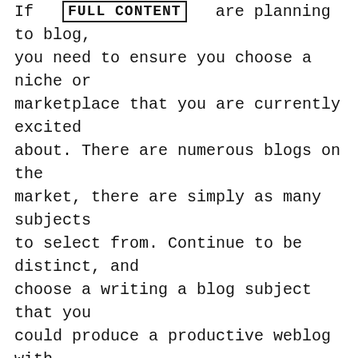If  FULL CONTENT  are planning to blog, you need to ensure you choose a niche or marketplace that you are currently excited about. There are numerous blogs on the market, there are simply as many subjects to select from. Continue to be distinct, and choose a writing a blog subject that you could produce a productive weblog with.
When you decide to start a blog, ensure that the subject is something you discover interesting and this ignites your want to offer other individuals. Creating the material of the website will take several hours weekly. You want to ensure that you love the niche.